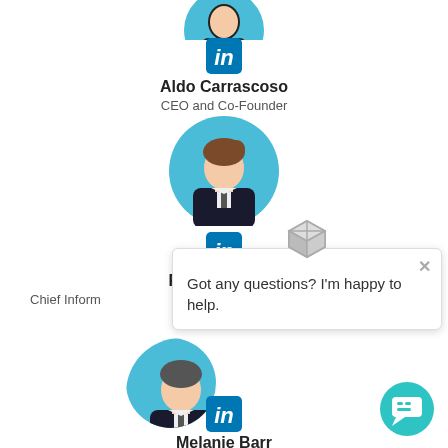[Figure (organizational-chart): Partial profile photo of a person (top cropped) in a circular avatar]
[Figure (logo): LinkedIn 'in' icon in blue rounded square]
Aldo Carrascoso
CEO and Co-Founder
[Figure (illustration): Generic male avatar in teal circle wearing suit, brown hair]
[Figure (logo): LinkedIn 'in' icon in blue rounded square]
Randolph Barr
Chief Inform
[Figure (illustration): Chat popup with cube icon, close X, text: Got any questions? I'm happy to help.]
[Figure (illustration): Partial generic male avatar in teal circle wearing suit]
[Figure (logo): LinkedIn 'in' icon in blue rounded square]
Melanie Barr
[Figure (illustration): Teal circular chat button with speech bubble icon in bottom right corner]